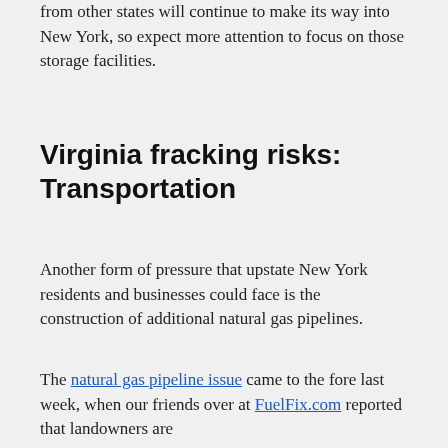Fracking ban or not, natural gas from other states will continue to make its way into New York, so expect more attention to focus on those storage facilities.
Virginia fracking risks: Transportation
Another form of pressure that upstate New York residents and businesses could face is the construction of additional natural gas pipelines.
The natural gas pipeline issue came to the fore last week, when our friends over at FuelFix.com reported that landowners are